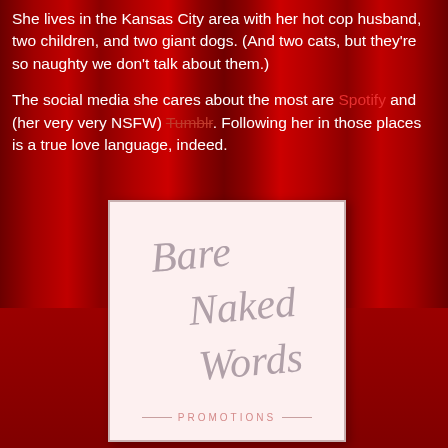She lives in the Kansas City area with her hot cop husband, two children, and two giant dogs. (And two cats, but they're so naughty we don't talk about them.)

The social media she cares about the most are Spotify and (her very very NSFW) Tumblr. Following her in those places is a true love language, indeed.
[Figure (logo): Bare Naked Words Promotions logo — cursive script text on a light pink background with a grey border, reading 'Bare Naked Words' in decorative handwritten style, with 'PROMOTIONS' in small spaced capitals below]